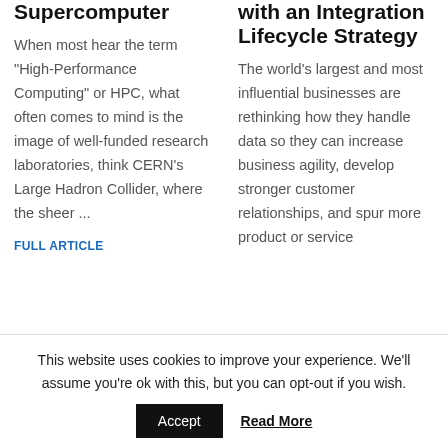Supercomputer
When most hear the term "High-Performance Computing" or HPC, what often comes to mind is the image of well-funded research laboratories, think CERN's Large Hadron Collider, where the sheer ...
FULL ARTICLE
with an Integration Lifecycle Strategy
The world's largest and most influential businesses are rethinking how they handle data so they can increase business agility, develop stronger customer relationships, and spur more product or service
This website uses cookies to improve your experience. We'll assume you're ok with this, but you can opt-out if you wish.
Accept   Read More